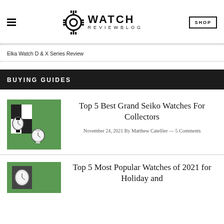Watch Review Blog — SHOP
Elka Watch D & X Series Review
BUYING GUIDES
[Figure (photo): Green background image showing Grand Seiko watches on black and white checkered pattern]
Top 5 Best Grand Seiko Watches For Collectors
November 24, 2021 By Matthew Catellier — 5 Comments
[Figure (photo): Green background image partially visible showing watches, second article thumbnail]
Top 5 Most Popular Watches of 2021 for Holiday and